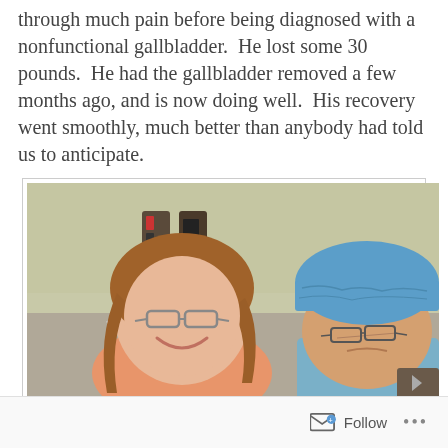through much pain before being diagnosed with a nonfunctional gallbladder.  He lost some 30 pounds.  He had the gallbladder removed a few months ago, and is now doing well.  His recovery went smoothly, much better than anybody had told us to anticipate.
[Figure (photo): A smiling woman with glasses and long reddish-brown hair wearing a coral/salmon top, and a person wearing blue surgical cap and glasses in what appears to be a hospital or medical facility setting.]
Follow ···